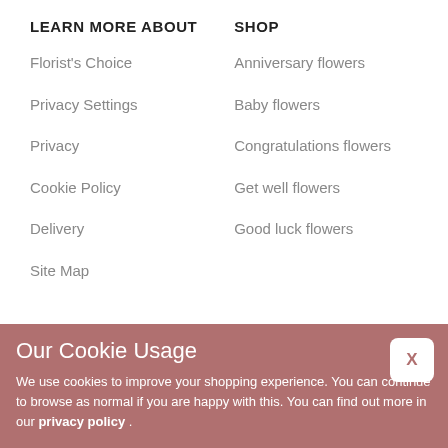LEARN MORE ABOUT
SHOP
Florist's Choice
Anniversary flowers
Privacy Settings
Baby flowers
Privacy
Congratulations flowers
Cookie Policy
Get well flowers
Delivery
Good luck flowers
Site Map
CUSTOMER SERVICE
Our Cookie Usage
We use cookies to improve your shopping experience. You can continue to browse as normal if you are happy with this. You can find out more in our privacy policy .